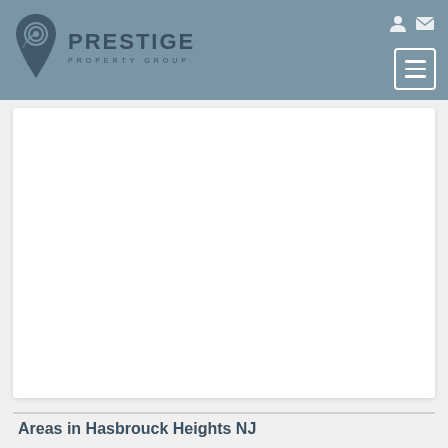Prestige Property Group
[Figure (logo): Prestige Property Group logo with pin icon and text]
[Figure (screenshot): White content card area, blank]
Areas in Hasbrouck Heights NJ